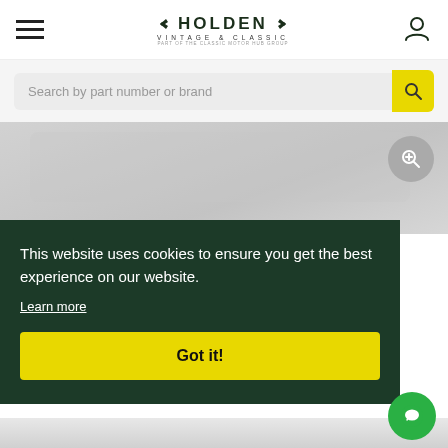[Figure (logo): Holden Vintage & Classic logo with wings and text]
Search by part number or brand
[Figure (photo): Product image area with zoom button]
This website uses cookies to ensure you get the best experience on our website.
Learn more
Got it!